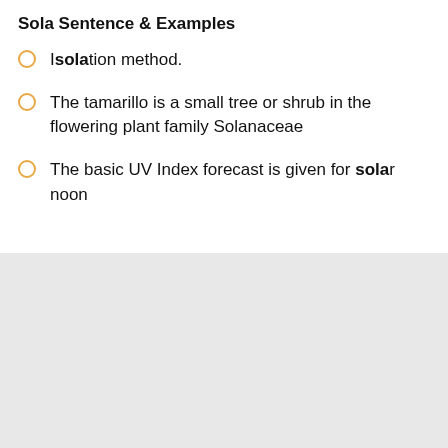Sola Sentence & Examples
Isolation method.
The tamarillo is a small tree or shrub in the flowering plant family Solanaceae
The basic UV Index forecast is given for solar noon